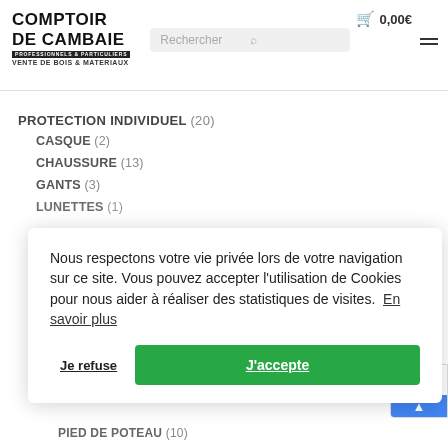Comptoir de Cambaie — Professionnels & Particuliers, Vente de Bois & Materiaux — Cart: 0,00€
PROTECTION INDIVIDUEL (20)
CASQUE (2)
CHAUSSURE (13)
GANTS (3)
LUNETTES (1)
Nous respectons votre vie privée lors de votre navigation sur ce site. Vous pouvez accepter l'utilisation de Cookies pour nous aider à réaliser des statistiques de visites. En savoir plus
Je refuse | J'accepte
PIED DE POTEAU (10)